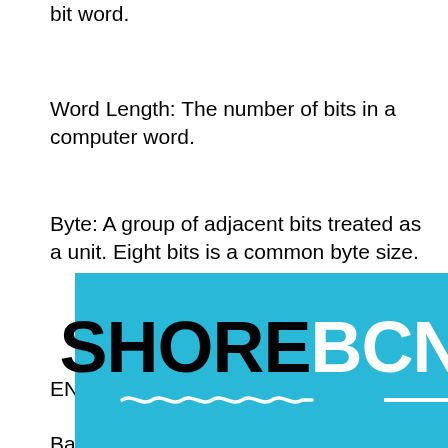bit word.
Word Length: The number of bits in a computer word.
Byte: A group of adjacent bits treated as a unit. Eight bits is a common byte size.
END OF (ancient) QUOTE
Back then there was all sorts of hype about the “coming advances”
[Figure (logo): SHOREBCN logo on a cyan/blue background with wave decoration underline]